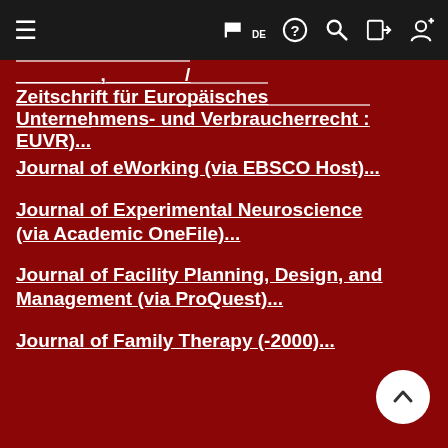Navigation bar with menu, flag/DE, help, search, login, register icons
Zeitschrift für Europäisches Unternehmens- und Verbraucherrecht : EUVR)...
Journal of eWorking (via EBSCO Host)...
Journal of Experimental Neuroscience (via Academic OneFile)...
Journal of Facility Planning, Design, and Management (via ProQuest)...
Journal of Family Therapy (-2000)...